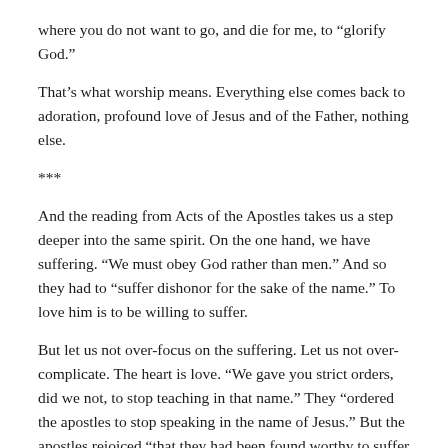where you do not want to go, and die for me, to “glorify God.”
That’s what worship means. Everything else comes back to adoration, profound love of Jesus and of the Father, nothing else.
***
And the reading from Acts of the Apostles takes us a step deeper into the same spirit. On the one hand, we have suffering. “We must obey God rather than men.” And so they had to “suffer dishonor for the sake of the name.” To love him is to be willing to suffer.
But let us not over-focus on the suffering. Let us not over-complicate. The heart is love. “We gave you strict orders, did we not, to stop teaching in that name.” They “ordered the apostles to stop speaking in the name of Jesus.” But the apostles rejoiced “that they had been found worthy to suffer dishonor for the sake of the name.”
Yes, suffering. Yes, obedience. But deeper than that is their joy in savoring the name of Jesus. The name, which is not a talisman, not a magic word, not an obligation, but the simple savoring of the goodness